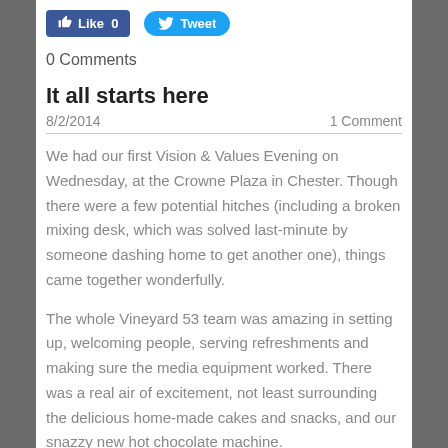[Figure (other): Social media buttons: Facebook Like (0) and Twitter Tweet]
0 Comments
It all starts here
8/2/2014    1 Comment
We had our first Vision & Values Evening on Wednesday, at the Crowne Plaza in Chester. Though there were a few potential hitches (including a broken mixing desk, which was solved last-minute by someone dashing home to get another one), things came together wonderfully.
The whole Vineyard 53 team was amazing in setting up, welcoming people, serving refreshments and making sure the media equipment worked. There was a real air of excitement, not least surrounding the delicious home-made cakes and snacks, and our snazzy new hot chocolate machine.